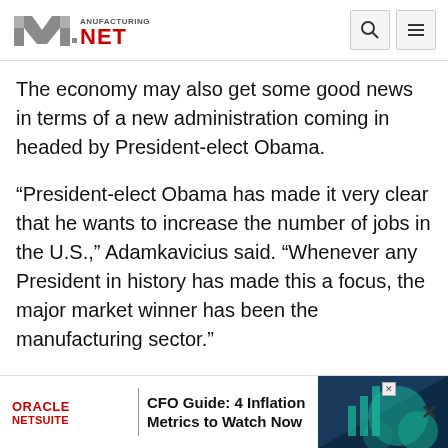Manufacturing.net
The economy may also get some good news in terms of a new administration coming in headed by President-elect Obama.
“President-elect Obama has made it very clear that he wants to increase the number of jobs in the U.S.,” Adamkavicius said. “Whenever any President in history has made this a focus, the major market winner has been the manufacturing sector.”
“There’s a lot of hope and incredibly high expectations behind Obama,” Spitzer added. “Even opponents want him to succeed because of what the alt... a highly d...
[Figure (other): Oracle NetSuite advertisement banner: CFO Guide: 4 Inflation Metrics to Watch Now]